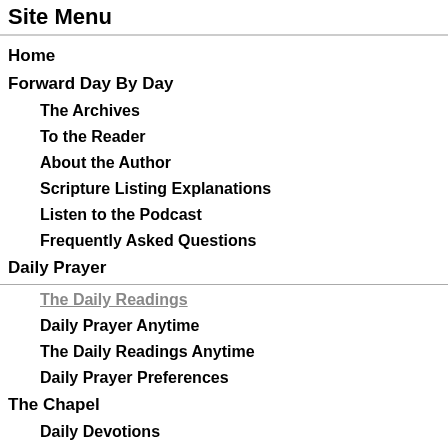Site Menu
Home
Forward Day By Day
The Archives
To the Reader
About the Author
Scripture Listing Explanations
Listen to the Podcast
Frequently Asked Questions
Daily Prayer
The Daily Readings
Daily Prayer Anytime
The Daily Readings Anytime
Daily Prayer Preferences
The Chapel
Daily Devotions